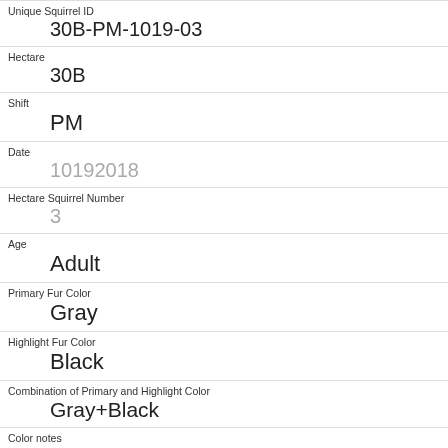| Unique Squirrel ID | 30B-PM-1019-03 |
| Hectare | 30B |
| Shift | PM |
| Date | 10192018 |
| Hectare Squirrel Number | 3 |
| Age | Adult |
| Primary Fur Color | Gray |
| Highlight Fur Color | Black |
| Combination of Primary and Highlight Color | Gray+Black |
| Color notes |  |
| Location |  |